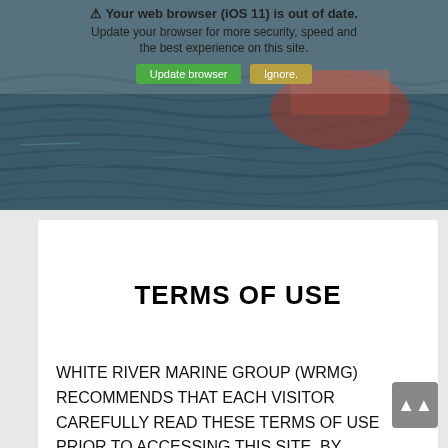[Figure (screenshot): Browser outdated warning banner overlaid on a photo of dark water/river scene with a boat partially visible. Shows 'Your web browser (iOS 11) is out of date. Update your browser for more security, speed and the best experience on this site.' with two buttons: green 'Update browser' and gold/tan 'Ignore.']
TERMS OF USE
WHITE RIVER MARINE GROUP (WRMG) RECOMMENDS THAT EACH VISITOR CAREFULLY READ THESE TERMS OF USE PRIOR TO ACCESSING THIS SITE. BY